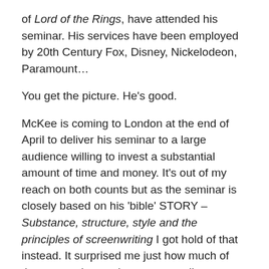of Lord of the Rings, have attended his seminar. His services have been employed by 20th Century Fox, Disney, Nickelodeon, Paramount…
You get the picture. He’s good.
McKee is coming to London at the end of April to deliver his seminar to a large audience willing to invest a substantial amount of time and money. It’s out of my reach on both counts but as the seminar is closely based on his ‘bible’ STORY – Substance, structure, style and the principles of screenwriting I got hold of that instead. It surprised me just how much of the content is as relevant to novelists as those writing for the screen and this is a taste of the things I’ve learned.
I worried that it might be difficult for me to follow as a non